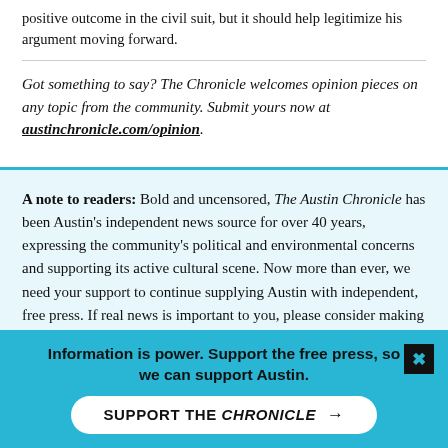positive outcome in the civil suit, but it should help legitimize his argument moving forward.
Got something to say? The Chronicle welcomes opinion pieces on any topic from the community. Submit yours now at austinchronicle.com/opinion.
A note to readers: Bold and uncensored, The Austin Chronicle has been Austin's independent news source for over 40 years, expressing the community's political and environmental concerns and supporting its active cultural scene. Now more than ever, we need your support to continue supplying Austin with independent, free press. If real news is important to you, please consider making a donation of $5, $10 or whatever you can afford, to help keep our journalism on stands.
Information is power. Support the free press, so we can support Austin.
SUPPORT THE CHRONICLE →